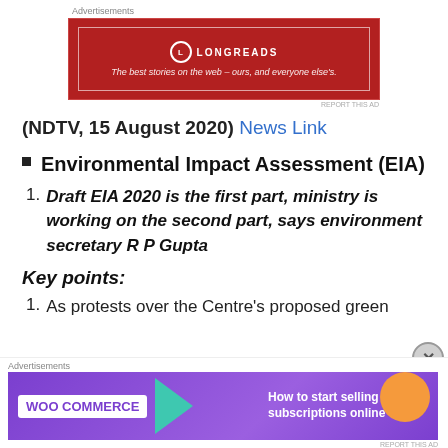[Figure (infographic): Longreads advertisement banner — red background, white border, Longreads logo and tagline: 'The best stories on the web – ours, and everyone else's.']
(NDTV, 15 August 2020) News Link
Environmental Impact Assessment (EIA)
Draft EIA 2020 is the first part, ministry is working on the second part, says environment secretary R P Gupta
Key points:
As protests over the Centre's proposed green
[Figure (infographic): WooCommerce advertisement banner — purple background with green arrow and orange shape, text: 'How to start selling subscriptions online']